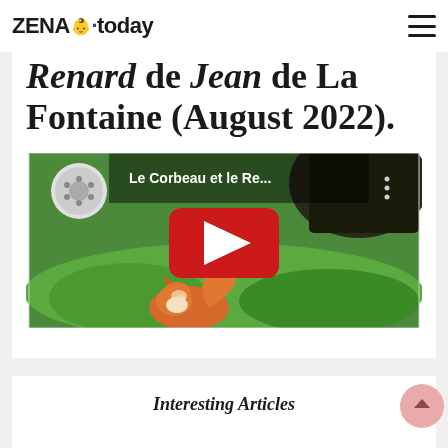ZENA today
Renard de Jean de La Fontaine (August 2022).
[Figure (screenshot): YouTube video thumbnail showing animated fox and crow scene, titled 'Le Corbeau et le Re...' with red play button overlay]
Interesting Articles